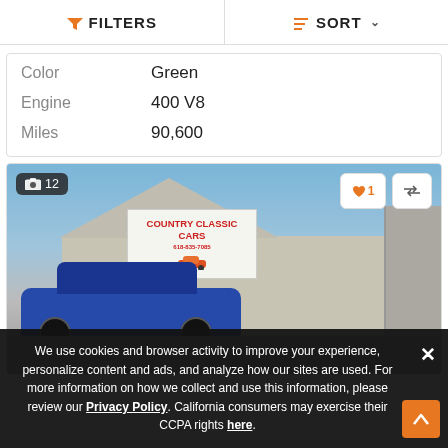FILTERS | SORT
| Attribute | Value |
| --- | --- |
| Color | Green |
| Engine | 400 V8 |
| Miles | 90,600 |
[Figure (photo): Photo of a blue classic car parked in front of a Country Classic Cars dealership building. A large sign on the building reads 'Country Classic Cars' with a phone number. Photo badge shows 12 images. Action buttons show heart (1) and compare icons.]
We use cookies and browser activity to improve your experience, personalize content and ads, and analyze how our sites are used. For more information on how we collect and use this information, please review our Privacy Policy. California consumers may exercise their CCPA rights here.